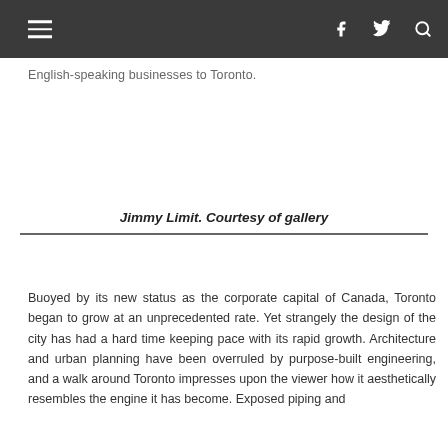☰ [navigation bar with hamburger menu, facebook, twitter, search icons]
English-speaking businesses to Toronto.
Jimmy Limit. Courtesy of gallery
Buoyed by its new status as the corporate capital of Canada, Toronto began to grow at an unprecedented rate. Yet strangely the design of the city has had a hard time keeping pace with its rapid growth. Architecture and urban planning have been overruled by purpose-built engineering, and a walk around Toronto impresses upon the viewer how it aesthetically resembles the engine it has become. Exposed piping and